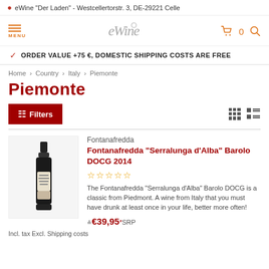eWine "Der Laden" - Westcellertorstr. 3, DE-29221 Celle
[Figure (logo): eWine script logo in gray/silver]
ORDER VALUE +75 €, DOMESTIC SHIPPING COSTS ARE FREE
Home > Country > Italy > Piemonte
Piemonte
Filters
[Figure (illustration): Wine bottle product image for Fontanafredda Serralunga d'Alba Barolo DOCG 2014]
Fontanafredda
Fontanafredda "Serralunga d'Alba" Barolo DOCG 2014
☆☆☆☆☆
The Fontanafredda "Serralunga d'Alba" Barolo DOCG is a classic from Piedmont. A wine from Italy that you must have drunk at least once in your life, better more often!
≙€39,95* SRP
Incl. tax Excl. Shipping costs